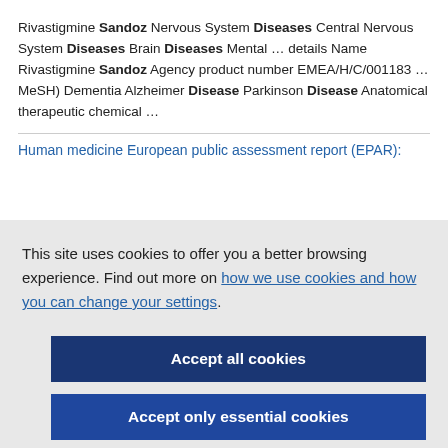Rivastigmine Sandoz Nervous System Diseases Central Nervous System Diseases Brain Diseases Mental … details Name Rivastigmine Sandoz Agency product number EMEA/H/C/001183 … MeSH) Dementia Alzheimer Disease Parkinson Disease Anatomical therapeutic chemical …
Human medicine European public assessment report (EPAR):
This site uses cookies to offer you a better browsing experience. Find out more on how we use cookies and how you can change your settings.
Accept all cookies
Accept only essential cookies